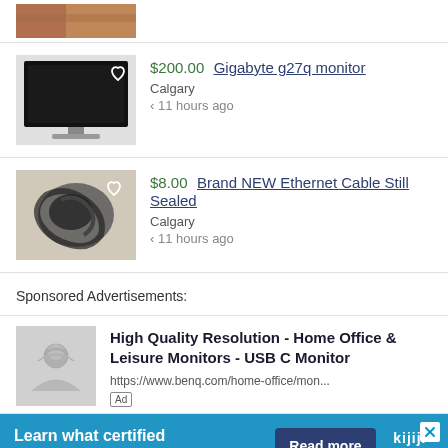[Figure (photo): Partial view of a brown/orange sofa image at top of page]
$200.00 Gigabyte g27q monitor | Calgary | < 11 hours ago
$8.00 Brand NEW Ethernet Cable Still Sealed | Calgary | < 11 hours ago
Sponsored Advertisements:
High Quality Resolution - Home Office & Leisure Monitors - USB C Monitor
https://www.benq.com/home-office/mon...
[Figure (screenshot): Kijiji Autos sponsored banner: Learn what certified pre-owned really means | Read more button]
All Monitors